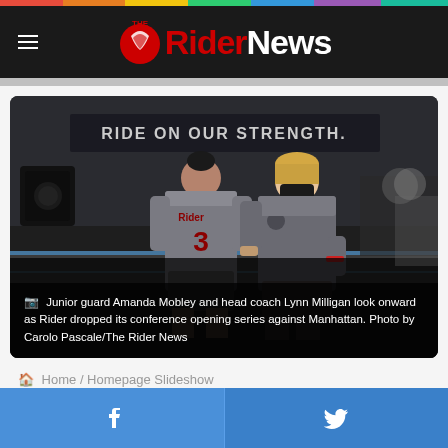The Rider News
[Figure (photo): Junior guard Amanda Mobley wearing Rider jersey #3 and head coach Lynn Milligan wearing a mask, standing on a basketball court with 'RIDE ON OUR STRENGTH.' banner visible in background.]
Junior guard Amanda Mobley and head coach Lynn Milligan look onward as Rider dropped its conference opening series against Manhattan. Photo by Carolo Pascale/The Rider News
Home / Homepage Slideshow